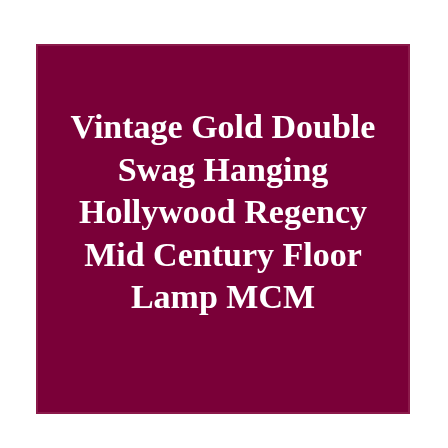Vintage Gold Double Swag Hanging Hollywood Regency Mid Century Floor Lamp MCM